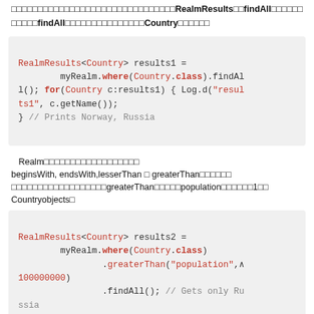□□□□□□□□□□□□□□□□□□□□□□□□□□□□□□□RealmResults□□findAll□□□□□□
□□□□□findAll□□□□□□□□□□□□□□□Country□□□□□□
[Figure (screenshot): Code block showing: RealmResults<Country> results1 = myRealm.where(Country.class).findAll(); for(Country c:results1) { Log.d("results1", c.getName()); } // Prints Norway, Russia]
Realm□□□□□□□□□□□□□□□□□□
beginsWith, endsWith,lesserThan □ greaterThan□□□□□□
□□□□□□□□□□□□□□□□□□greaterThan□□□□□population□□□□□□1□□
Countryobjects□
[Figure (screenshot): Code block showing: RealmResults<Country> results2 = myRealm.where(Country.class).greaterThan("population", 100000000).findAll(); // Gets only Russia]